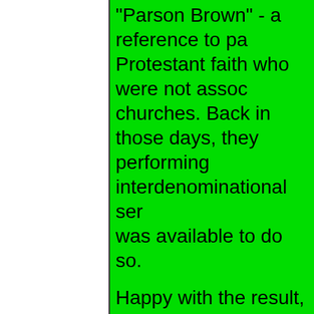"Parson Brown" - a reference to parsons of the Protestant faith who were not associated with particular churches. Back in those days, they were known for performing interdenominational services when no one else was available to do so.
Happy with the result, Smith showed it to Felix Bernard in 1934. Touched by his sickness, Smith expressed his desire to flee the limitations of illness. Bernard immediately set to work at putting music to the words.
Sadly, Smith never really saw the fruits of his work, ravaged by the disease at the young age of 34. The unforgettable music to Smith's poem has since become